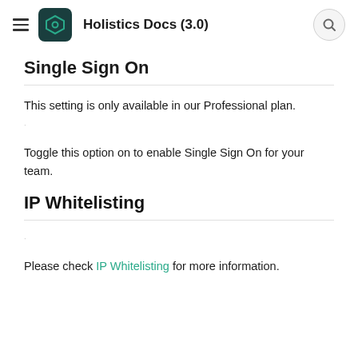Holistics Docs (3.0)
Single Sign On
This setting is only available in our Professional plan.
Toggle this option on to enable Single Sign On for your team.
IP Whitelisting
Please check IP Whitelisting for more information.